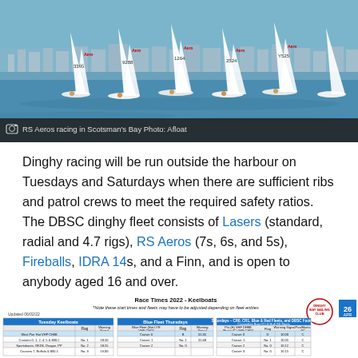[Figure (photo): RS Aeros racing in Scotsman's Bay, multiple sailing dinghies with white sails on blue water with buildings visible in background]
RS Aeros racing in Scotsman's Bay Photo: Afloat
Dinghy racing will be run outside the harbour on Tuesdays and Saturdays when there are sufficient ribs and patrol crews to meet the required safety ratios. The DBSC dinghy fleet consists of Lasers (standard, radial and 4.7 rigs), RS Aeros (7s, 6s, and 5s), Fireballs, IDRA 14s, and a Finn, and is open to anybody aged 16 and over.
[Figure (table-as-image): Race Times 2022 - Keelboats table showing Tuesday Keelboats, Blue Fleet Thursdays, and Saturdays schedule with flag signals and warning times]
Race Times 2022 - Keelboats
*Note these start times and fleets may have to be adjusted depending on fleet entries
Updated 06/02/22